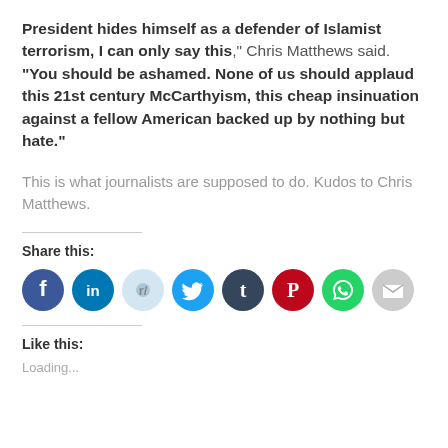President hides himself as a defender of Islamist terrorism, I can only say this," Chris Matthews said. "You should be ashamed. None of us should applaud this 21st century McCarthyism, this cheap insinuation against a fellow American backed up by nothing but hate."
This is what journalists are supposed to do. Kudos to Chris Matthews.
Share this:
[Figure (other): Row of social media share icons: Facebook, LinkedIn, Reddit, Twitter, Tumblr, Pinterest, WhatsApp, Email]
Like this:
Loading...